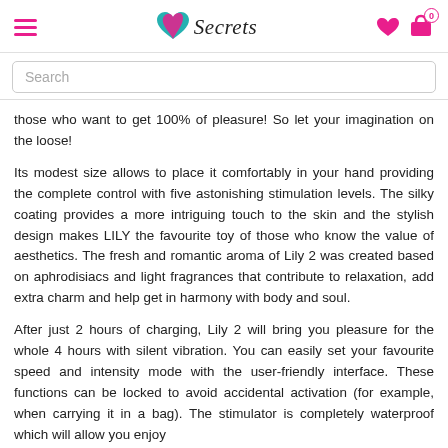Secrets
those who want to get 100% of pleasure! So let your imagination on the loose!
Its modest size allows to place it comfortably in your hand providing the complete control with five astonishing stimulation levels. The silky coating provides a more intriguing touch to the skin and the stylish design makes LILY the favourite toy of those who know the value of aesthetics. The fresh and romantic aroma of Lily 2 was created based on aphrodisiacs and light fragrances that contribute to relaxation, add extra charm and help get in harmony with body and soul.
After just 2 hours of charging, Lily 2 will bring you pleasure for the whole 4 hours with silent vibration. You can easily set your favourite speed and intensity mode with the user-friendly interface. These functions can be locked to avoid accidental activation (for example, when carrying it in a bag). The stimulator is completely waterproof which will allow you enjoy